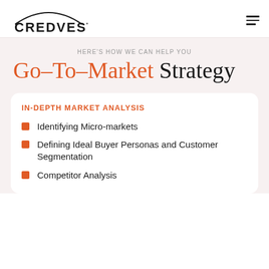CREDVEST
HERE'S HOW WE CAN HELP YOU
Go-To-Market Strategy
IN-DEPTH MARKET ANALYSIS
Identifying Micro-markets
Defining Ideal Buyer Personas and Customer Segmentation
Competitor Analysis